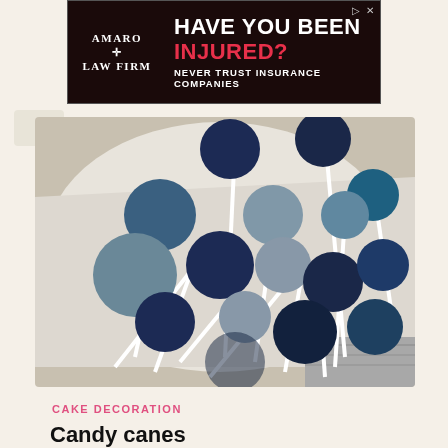[Figure (photo): Advertisement banner for Amaro Law Firm with dark red background. Left side shows 'AMARO LAW FIRM' text with a cross symbol. Right side shows large white bold text 'HAVE YOU BEEN' and red text 'INJURED?' with subtitle 'NEVER TRUST INSURANCE COMPANIES']
[Figure (photo): Photo of multiple lollipops on white sticks arranged in a bouquet-like spread on white crinkled paper and a gray wooden surface. The lollipop heads are round discs in various shades of navy blue, steel blue, dusty blue/gray, and teal blue.]
CAKE DECORATION
Candy canes